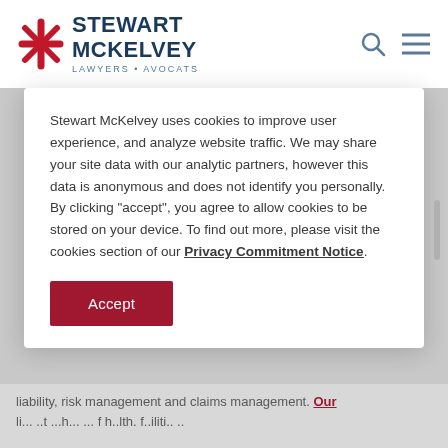[Figure (logo): Stewart McKelvey law firm logo with red starburst/asterisk icon and dark blue text reading STEWART MCKELVEY, with subtitle LAWYERS • AVOCATS]
Stewart McKelvey uses cookies to improve user experience, and analyze website traffic. We may share your site data with our analytic partners, however this data is anonymous and does not identify you personally. By clicking "accept", you agree to allow cookies to be stored on your device. To find out more, please visit the cookies section of our Privacy Commitment Notice.
Accept